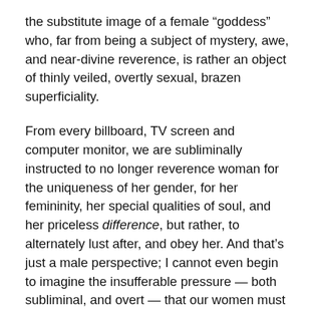the substitute image of a female “goddess” who, far from being a subject of mystery, awe, and near-divine reverence, is rather an object of thinly veiled, overtly sexual, brazen superficiality.
From every billboard, TV screen and computer monitor, we are subliminally instructed to no longer reverence woman for the uniqueness of her gender, for her femininity, her special qualities of soul, and her priceless difference, but rather, to alternately lust after, and obey her. And that’s just a male perspective; I cannot even begin to imagine the insufferable pressure — both subliminal, and overt — that our women must feel, from the age of about 7, to live up to the many conflicting, unnatural, and impossible “standards” that have been increasingly and relentlessly imposed on them from every social organ.